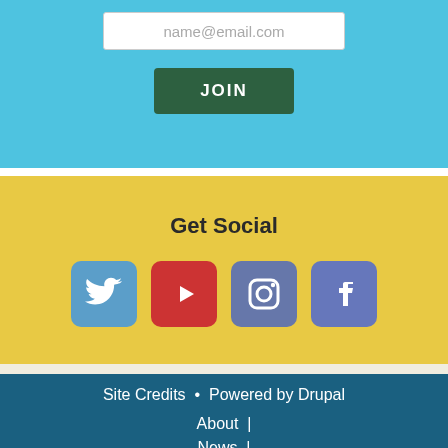name@email.com
JOIN
Get Social
[Figure (illustration): Social media icons: Twitter (blue), YouTube (red play button), Instagram (gray/blue camera), Facebook (blue f)]
Site Credits  •  Powered by Drupal
About  |
News  |